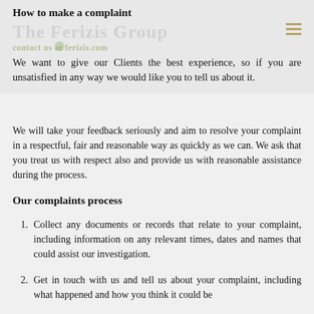How to make a complaint
We want to give our Clients the best experience, so if you are unsatisfied in any way we would like you to tell us about it.
We will take your feedback seriously and aim to resolve your complaint in a respectful, fair and reasonable way as quickly as we can. We ask that you treat us with respect also and provide us with reasonable assistance during the process.
Our complaints process
Collect any documents or records that relate to your complaint, including information on any relevant times, dates and names that could assist our investigation.
Get in touch with us and tell us about your complaint, including what happened and how you think it could be